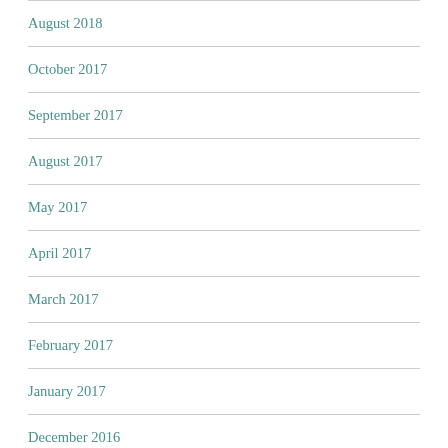August 2018
October 2017
September 2017
August 2017
May 2017
April 2017
March 2017
February 2017
January 2017
December 2016